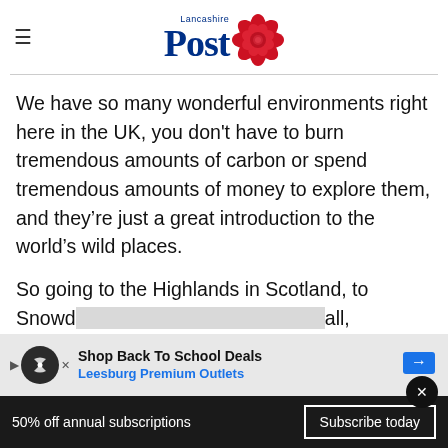Lancashire Post
We have so many wonderful environments right here in the UK, you don't have to burn tremendous amounts of carbon or spend tremendous amounts of money to explore them, and they're just a great introduction to the world's wild places.
So going to the Highlands in Scotland, to Snowd... all, these places have beauties that we tend to
[Figure (screenshot): Advertisement banner: Shop Back To School Deals - Leesburg Premium Outlets]
50% off annual subscriptions   Subscribe today